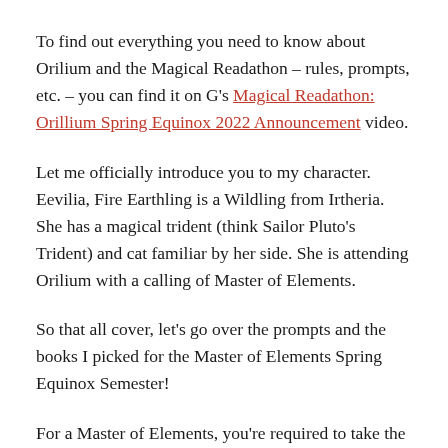To find out everything you need to know about Orilium and the Magical Readathon – rules, prompts, etc. – you can find it on G's Magical Readathon: Orillium Spring Equinox 2022 Announcement video.
Let me officially introduce you to my character. Eevilia, Fire Earthling is a Wildling from Irtheria. She has a magical trident (think Sailor Pluto's Trident) and cat familiar by her side. She is attending Orilium with a calling of Master of Elements.
So that all cover, let's go over the prompts and the books I picked for the Master of Elements Spring Equinox Semester!
For a Master of Elements, you're required to take the following courses: